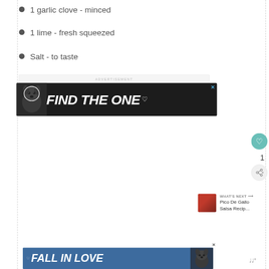1 garlic clove - minced
1 lime - fresh squeezed
Salt - to taste
[Figure (other): Advertisement banner with dog image and text FIND THE ONE with a heart icon, on dark background]
[Figure (other): WHAT'S NEXT panel showing Pico De Gallo Salsa Recip... with thumbnail]
[Figure (other): Advertisement banner with text FALL IN LOVE on blue background with dog image]